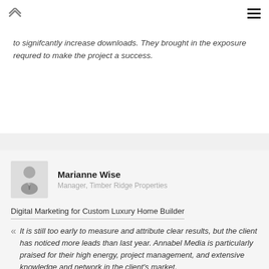navigation bar with up chevron and hamburger menu
to signifcantly increase downloads. They brought in the exposure requred to make the project a success.
Marianne Wise
Manager, Timber Ridge Properties
Digital Marketing for Custom Luxury Home Builder
It is still too early to measure and attribute clear results, but the client has noticed more leads than last year. Annabel Media is particularly praised for their high energy, project management, and extensive knowledge and network in the client's market.